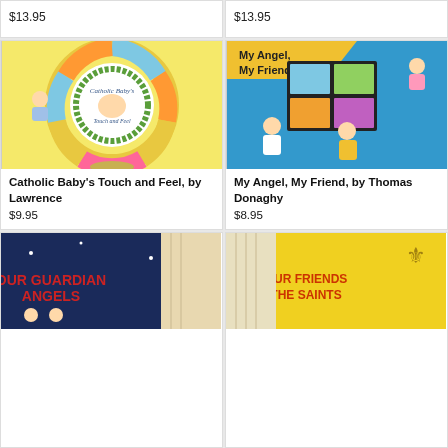$13.95
$13.95
[Figure (photo): Book cover: Catholic Baby's Touch and Feel - circular shaped colorful board book with wreath, angel illustrations]
Catholic Baby's Touch and Feel, by Lawrence
$9.95
[Figure (photo): Book cover: My Angel, My Friend - blue cover with stained glass window design and cartoon angel children]
My Angel, My Friend, by Thomas Donaghy
$8.95
[Figure (photo): Book cover: Our Guardian Angels - partial view, dark blue with red text]
[Figure (photo): Book cover: Our Friends The Saints - partial view, yellow with text]